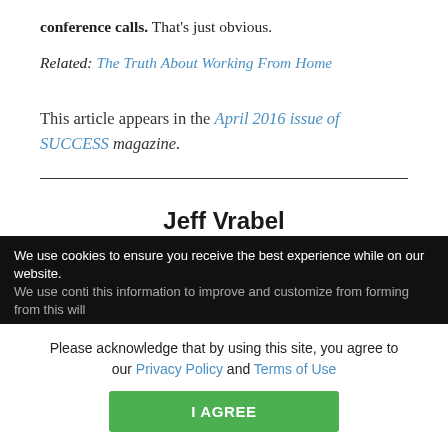conference calls. That's just obvious.
Related: The Truth About Working From Home
This article appears in the April 2016 issue of SUCCESS magazine.
Jeff Vrabel
Articles
We use cookies to ensure you receive the best experience while on our website.
Please acknowledge that by using this site, you agree to our Privacy Policy and Terms of Use
I AGREE